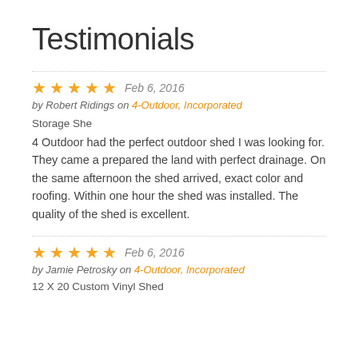Testimonials
★★★★★  Feb 6, 2016
 by Robert Ridings on 4-Outdoor, Incorporated
Storage She
4 Outdoor had the perfect outdoor shed I was looking for. They came a prepared the land with perfect drainage. On the same afternoon the shed arrived, exact color and roofing. Within one hour the shed was installed. The quality of the shed is excellent.
★★★★★  Feb 6, 2016
 by Jamie Petrosky on 4-Outdoor, Incorporated
12 X 20 Custom Vinyl Shed